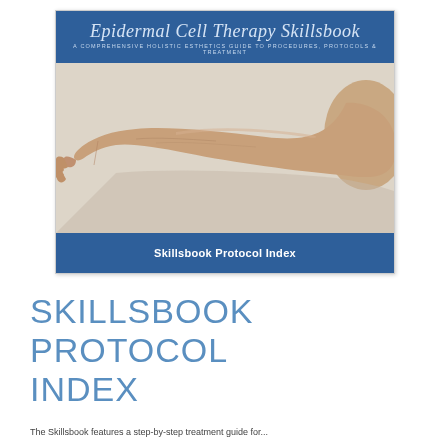[Figure (illustration): Book cover of 'Epidermal Cell Therapy Skillsbook' with a blue header containing the script title and subtitle 'A Comprehensive Holistic Esthetics Guide to Procedures, Protocols & Treatment', a center photo of an outstretched human arm against a light background, and a blue footer reading 'Skillsbook Protocol Index'.]
SKILLSBOOK PROTOCOL INDEX
The Skillsbook features a step-by-step treatment guide for...